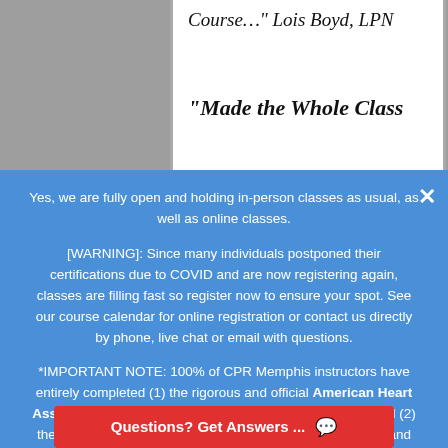Course..." Lois Boyd, LPN
“Made the Whole Class
Yes, we are fully open and holding in-person classes as usual, as well as online classes.
[WARNING]: Since many individuals postponed their certifications due to COVID and are now registering again, classes are filling fast so register now to ensure your spot. See our course calendar for online registration or contact us directly by phone, live chat or email with questions.
*IMPORTANT NOTE: 100% of CPR Memphis instructors have entirely completed (1) the rigorous and official American Heart Association instructor training and certification process, and (2) the “How to Teach a Stress-Free CPR Class™” classroom and testing training protocol that ensures a superior experience for everyone. In addition, students will receive their AHA Cards the day of class!
Memphis Healthcare
Provi
Questions? Get Answers ...